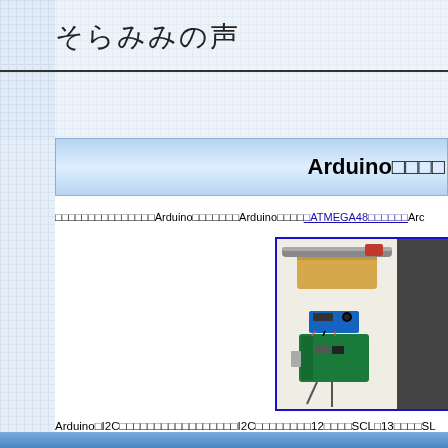そらみみの声
Arduino□□□□
□□□□□□□□□□□□□□□Arduino□□□□□□□Arduino□□□□ATMEGA48□□□□□□Arc...
[Figure (photo): Photo of Arduino board with sensor setup on wooden block, and a second device partially visible]
Arduino□I2C□□□□□□□□□□□□□□□□□I2C□□□□□□□□12□□□□SCL□13□□□□SL...
□□□□□□□□□□□□□□□□15cm□□□□□□□□□□□□□□□□□□□□□□□□□□□□□□□□□□□□□□□□□